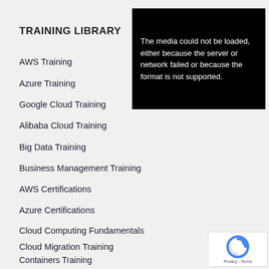TRAINING LIBRARY
[Figure (other): Black video player box showing error message: The media could not be loaded, either because the server or network failed or because the format is not supported.]
AWS Training
Azure Training
Google Cloud Training
Alibaba Cloud Training
Big Data Training
Business Management Training
AWS Certifications
Azure Certifications
Cloud Computing Fundamentals
Cloud Migration Training
Containers Training
DevOps Training
[Figure (other): reCAPTCHA widget with Privacy and Terms text]